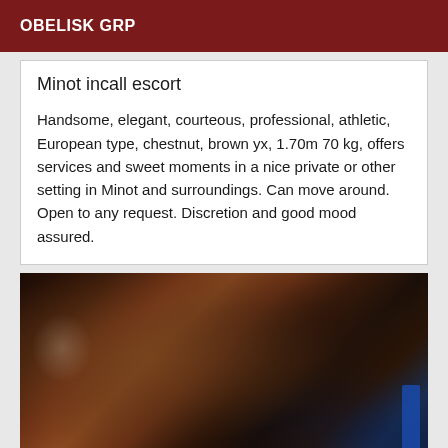OBELISK GRP
Minot incall escort
Handsome, elegant, courteous, professional, athletic, European type, chestnut, brown yx, 1.70m 70 kg, offers services and sweet moments in a nice private or other setting in Minot and surroundings. Can move around. Open to any request. Discretion and good mood assured.
[Figure (photo): Close-up photo of a person, mostly dark tones with brown skin tones and a blue garment visible on the right side]